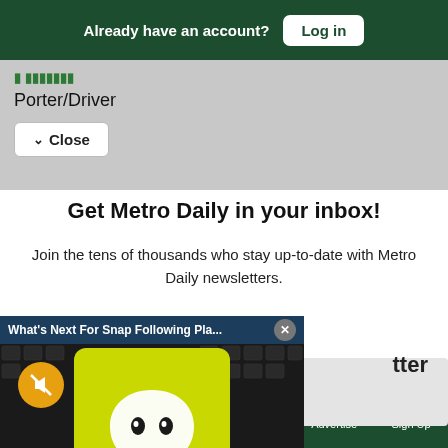Already have an account? Log in
Porter/Driver
Close
Get Metro Daily in your inbox!
Join the tens of thousands who stay up-to-date with Metro Daily newsletters.
[Figure (screenshot): Snapchat app video popup with title: What's Next For Snap Following Pla... showing a yellow Snapchat phone on a keyboard background. A mute button (orange circle with speaker-off icon) is visible. An X close button is shown.]
tter
Sections  NY Edition  Philly  Games  Advertise  Sign Up